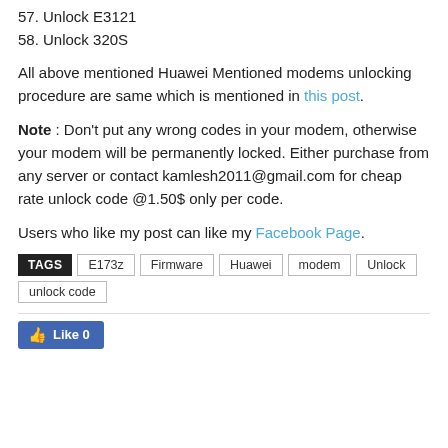57. Unlock E3121
58. Unlock 320S
All above mentioned Huawei Mentioned modems unlocking procedure are same which is mentioned in this post.
Note : Don’t put any wrong codes in your modem, otherwise your modem will be permanently locked. Either purchase from any server or contact kamlesh2011@gmail.com for cheap rate unlock code @1.50$ only per code.
Users who like my post can like my Facebook Page.
TAGS  E173z  Firmware  Huawei  modem  Unlock  unlock code